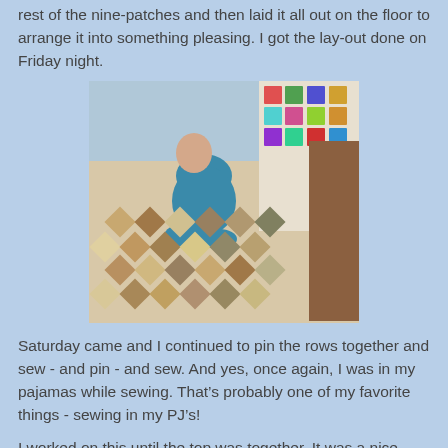rest of the nine-patches and then laid it all out on the floor to arrange it into something pleasing.  I got the lay-out done on Friday night.
[Figure (photo): Person sitting on the floor arranging quilt patches in a diamond pattern layout, with colorful quilt visible in the background against a wall.]
Saturday came and I continued to pin the rows together and sew - and pin - and sew.  And yes, once again, I was in my pajamas while sewing.  That's probably one of my favorite things - sewing in my PJ's!
I worked on this until the top was together.  It was a nice relaxing day!
[Figure (photo): Top-down view of a completed quilt top laid out flat, showing diamond/nine-patch pattern in neutral and earthy tones.]